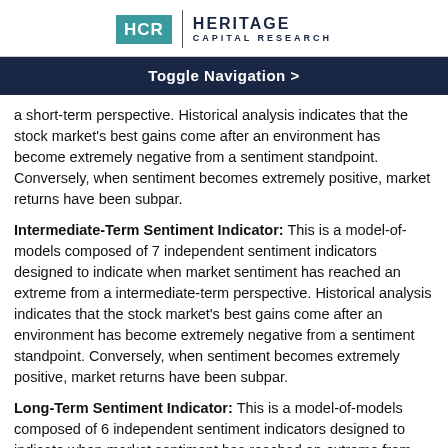HCR | HERITAGE CAPITAL RESEARCH
Toggle Navigation >
a short-term perspective. Historical analysis indicates that the stock market's best gains come after an environment has become extremely negative from a sentiment standpoint. Conversely, when sentiment becomes extremely positive, market returns have been subpar.
Intermediate-Term Sentiment Indicator: This is a model-of-models composed of 7 independent sentiment indicators designed to indicate when market sentiment has reached an extreme from a intermediate-term perspective. Historical analysis indicates that the stock market's best gains come after an environment has become extremely negative from a sentiment standpoint. Conversely, when sentiment becomes extremely positive, market returns have been subpar.
Long-Term Sentiment Indicator: This is a model-of-models composed of 6 independent sentiment indicators designed to indicate when market sentiment has reached an extreme from